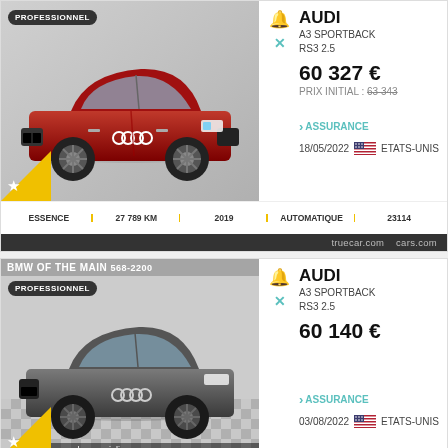[Figure (photo): Red Audi RS3 Sportback car photo with PROFESSIONNEL badge and yellow star badge]
AUDI
A3 SPORTBACK
RS3 2.5
60 327 €
PRIX INITIAL : 63 343
> ASSURANCE
18/05/2022  ETATS-UNIS
| ESSENCE | 27 789 KM | 2019 | AUTOMATIQUE | 23114 |
| --- | --- | --- | --- | --- |
truecar.com  cars.com
[Figure (photo): Grey Audi RS3 Sportback car photo with BMW OF THE MAIN dealer banner and PROFESSIONNEL badge]
AUDI
A3 SPORTBACK
RS3 2.5
60 140 €
> ASSURANCE
03/08/2022  ETATS-UNIS